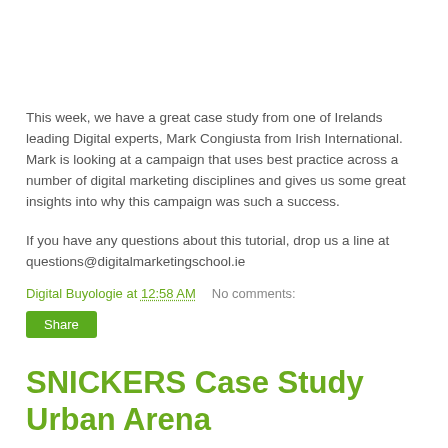This week, we have a great case study from one of Irelands leading Digital experts, Mark Congiusta from Irish International. Mark is looking at a campaign that uses best practice across a number of digital marketing disciplines and gives us some great insights into why this campaign was such a success.
If you have any questions about this tutorial, drop us a line at questions@digitalmarketingschool.ie
Digital Buyologie at 12:58 AM   No comments:
Share
SNICKERS Case Study Urban Arena